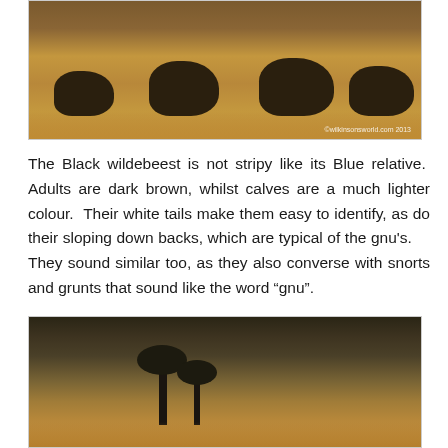[Figure (photo): Photograph of a group of black wildebeest (gnu) standing in dry golden grassland. Watermark reads '©wilkinsonsworld.com 2013'.]
The Black wildebeest is not stripy like its Blue relative.  Adults are dark brown, whilst calves are a much lighter colour.  Their white tails make them easy to identify, as do their sloping down backs, which are typical of the gnu's.    They sound similar too, as they also converse with snorts and grunts that sound like the word “gnu”.
[Figure (photo): Photograph of an African savanna landscape with sparse trees and dry brown brush in the foreground.]